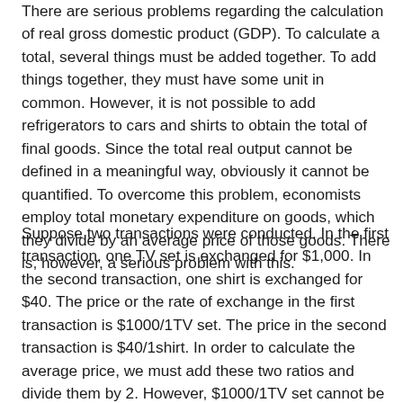There are serious problems regarding the calculation of real gross domestic product (GDP). To calculate a total, several things must be added together. To add things together, they must have some unit in common. However, it is not possible to add refrigerators to cars and shirts to obtain the total of final goods. Since the total real output cannot be defined in a meaningful way, obviously it cannot be quantified. To overcome this problem, economists employ total monetary expenditure on goods, which they divide by an average price of those goods. There is, however, a serious problem with this.
Suppose two transactions were conducted. In the first transaction, one TV set is exchanged for $1,000. In the second transaction, one shirt is exchanged for $40. The price or the rate of exchange in the first transaction is $1000/1TV set. The price in the second transaction is $40/1shirt. In order to calculate the average price, we must add these two ratios and divide them by 2. However, $1000/1TV set cannot be added to $40/1shirt, implying that it is not possible to establish an average price. On